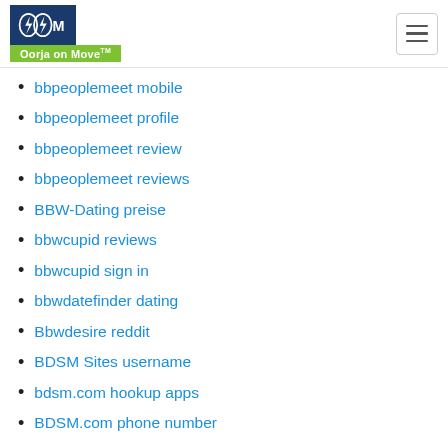Oorja on Move
bbpeoplemeet mobile
bbpeoplemeet profile
bbpeoplemeet review
bbpeoplemeet reviews
BBW-Dating preise
bbwcupid reviews
bbwcupid sign in
bbwdatefinder dating
Bbwdesire reddit
BDSM Sites username
bdsm.com hookup apps
BDSM.com phone number
Bdsmdate login
Bears XXX Live Video
Beautiful Mail Order Brides
beautiful ukrainian women